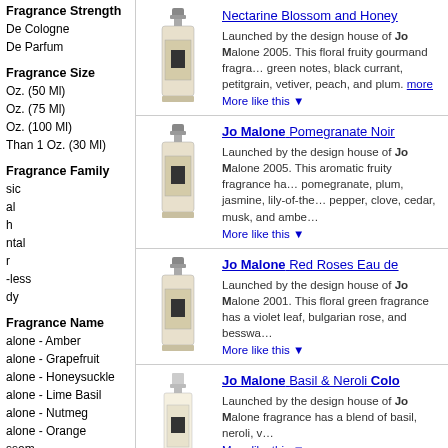Fragrance Strength
De Cologne
De Parfum
Fragrance Size
Oz. (50 Ml)
Oz. (75 Ml)
Oz. (100 Ml)
Than 1 Oz. (30 Ml)
Fragrance Family
sic
al
h
ntal
r
-less
dy
Fragrance Name
alone - Amber
alone - Grapefruit
alone - Honeysuckle
alone - Lime Basil
alone - Nutmeg
alone - Orange
ssom
Nectarine Blossom and Honey
Launched by the design house of Jo Malone 2005. This floral fruity gourmand fragrance green notes, black currant, petitgrain, vetiver, peach, and plum. more
More like this ▼
Jo Malone Pomegranate Noir
Launched by the design house of Jo Malone 2005. This aromatic fruity fragrance has pomegranate, plum, jasmine, lily-of-the pepper, clove, cedar, musk, and amber
More like this ▼
Jo Malone Red Roses Eau de
Launched by the design house of Jo Malone 2001. This floral green fragrance has a violet leaf, bulgarian rose, and besswa
More like this ▼
Jo Malone Basil & Neroli Cologne
Launched by the design house of Jo Malone fragrance has a blend of basil, neroli, v
More like this ▼
Jo Malone London Women's